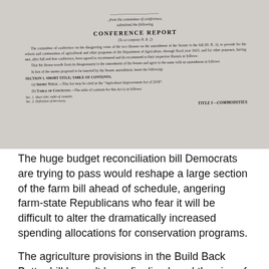[Figure (photo): Photograph of a printed government conference report document. The document shows 'CONFERENCE REPORT' as the title, with text about the committee of conference on the disagreeing votes of the two Houses, the amendment of the Senate to the bill (H.R. 2), provisions for reform and continuation of agricultural programs, and the beginning of Section 1 Short Title, Table of Contents for the Agriculture Improvement Act of 2018.]
The huge budget reconciliation bill Democrats are trying to pass would reshape a large section of the farm bill ahead of schedule, angering farm-state Republicans who fear it will be difficult to alter the dramatically increased spending allocations for conservation programs.
The agriculture provisions in the Build Back Better bill haven't been finalized, and the size of the legislation is